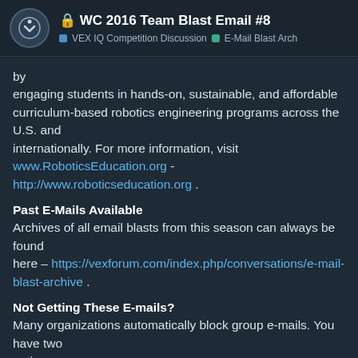🔒 WC 2016 Team Blast Email #8 | VEX IQ Competition Discussion | E-Mail Blast Arch
by engaging students in hands-on, sustainable, and affordable curriculum-based robotics engineering programs across the U.S. and internationally. For more information, visit www.RoboticsEducation.org - http://www.roboticseducation.org .
Past E-Mails Available
Archives of all email blasts from this season can always be found here – https://vexforum.com/index.php/conversations/e-mail-blast-archive .
Not Getting These E-mails?
Many organizations automatically block group e-mails. You have two options:
1. Request that your IT department "W